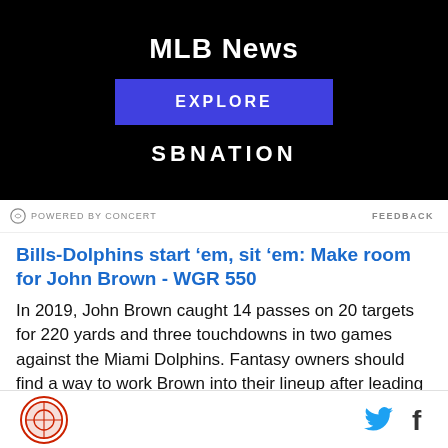[Figure (screenshot): SBNation advertisement banner with black background showing 'MLB News' text, blue EXPLORE button, and SBNATION logo]
POWERED BY CONCERT   FEEDBACK
Bills-Dolphins start ‘em, sit ‘em: Make room for John Brown - WGR 550
In 2019, John Brown caught 14 passes on 20 targets for 220 yards and three touchdowns in two games against the Miami Dolphins. Fantasy owners should find a way to work Brown into their lineup after leading the Buffalo Bills in targets in Week 1.